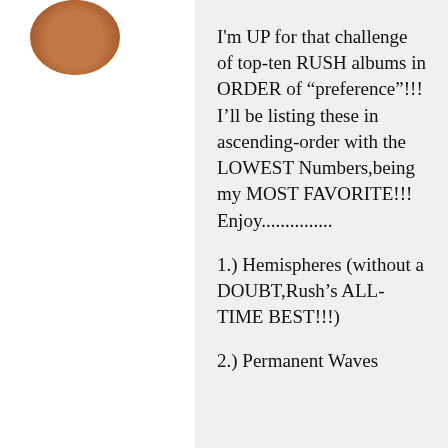[Figure (photo): Circular avatar photo of a person, partially visible at top-left]
I'm UP for that challenge of top-ten RUSH albums in ORDER of “preference”!!! I’ll be listing these in ascending-order with the LOWEST Numbers,being my MOST FAVORITE!!! Enjoy...............
1.) Hemispheres (without a DOUBT,Rush’s ALL-TIME BEST!!!)
2.) Permanent Waves